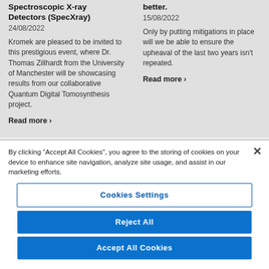Spectroscopic X-ray Detectors (SpecXray)
24/08/2022
Kromek are pleased to be invited to this prestigious event, where Dr. Thomas Zillhardt from the University of Manchester will be showcasing results from our collaborative Quantum Digital Tomosynthesis project.
Read more ›
better.
15/08/2022
Only by putting mitigations in place will we be able to ensure the upheaval of the last two years isn't repeated.
Read more ›
By clicking "Accept All Cookies", you agree to the storing of cookies on your device to enhance site navigation, analyze site usage, and assist in our marketing efforts.
Cookies Settings
Reject All
Accept All Cookies